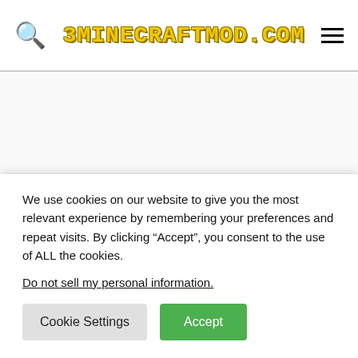3MINECRAFTMOD.COM
[Figure (other): Empty advertisement placeholder area]
Pirate Shins Data Pack (1.18.2, 1.17.1) – Hostile Pillager
We use cookies on our website to give you the most relevant experience by remembering your preferences and repeat visits. By clicking “Accept”, you consent to the use of ALL the cookies.
Do not sell my personal information.
Cookie Settings | Accept